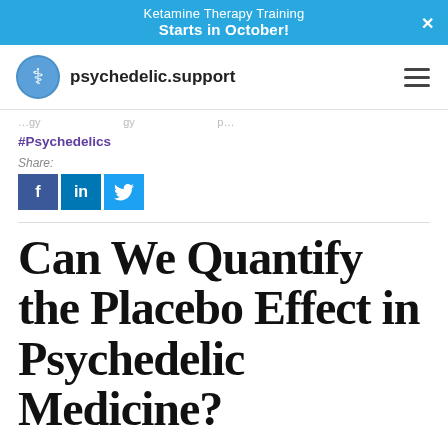Ketamine Therapy Training
Starts in October!
psychedelic.support
#Psychedelics
Share:
[Figure (other): Social share buttons: Facebook (f), LinkedIn (in), Twitter bird icon]
Can We Quantify the Placebo Effect in Psychedelic Medicine?